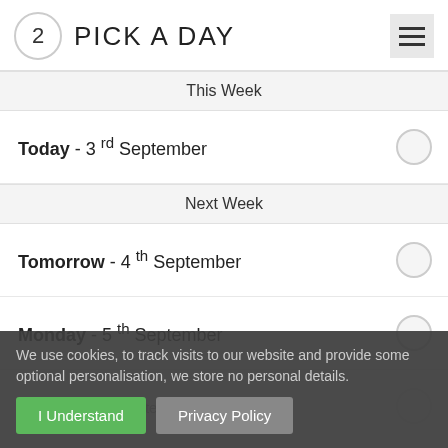2 PICK A DAY
This Week
Today - 3rd September
Next Week
Tomorrow - 4th September
Monday - 5th September
Tuesday - 6th September
We use cookies, to track visits to our website and provide some optional personalisation, we store no personal details.
I Understand   Privacy Policy